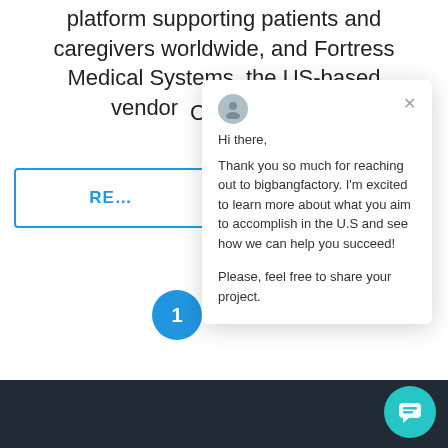platform supporting patients and caregivers worldwide, and Fortress Medical Systems, the US-based vendor [partially obscured] C[partially obscured]
RE[partially obscured]
1
[Figure (screenshot): Chat popup overlay showing a message from bigbangfactory: 'Hi there, Thank you so much for reaching out to bigbangfactory. I'm excited to learn more about what you aim to accomplish in the U.S and see how we can help you succeed! Please, feel free to share your project.']
[Figure (other): Teal chat widget button in bottom right corner]